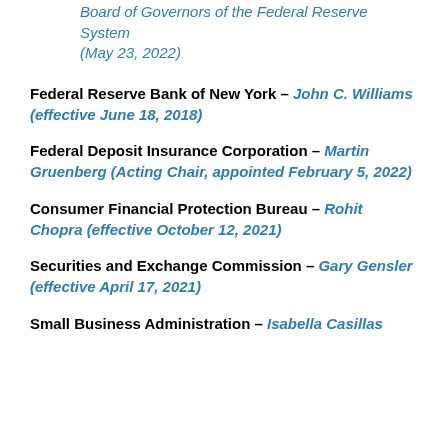Board of Governors of the Federal Reserve System (May 23, 2022)
Federal Reserve Bank of New York – John C. Williams (effective June 18, 2018)
Federal Deposit Insurance Corporation – Martin Gruenberg (Acting Chair, appointed February 5, 2022)
Consumer Financial Protection Bureau – Rohit Chopra (effective October 12, 2021)
Securities and Exchange Commission – Gary Gensler (effective April 17, 2021)
Small Business Administration – Isabella Casillas